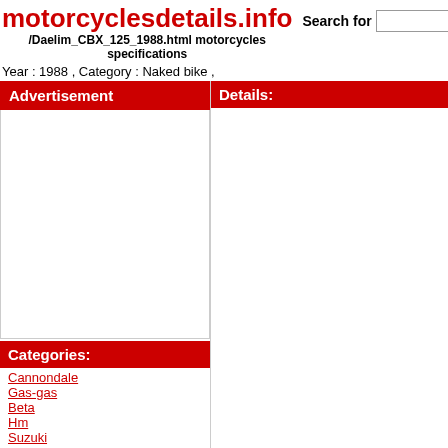motorcyclesdetails.info
/Daelim_CBX_125_1988.html motorcycles specifications
Search for
Year : 1988 , Category : Naked bike ,
Advertisement
Details:
Categories:
Cannondale
Gas-gas
Beta
Hm
Suzuki
Highland
Jawa
Borile
Kanuni
Mv Agusta
read co...